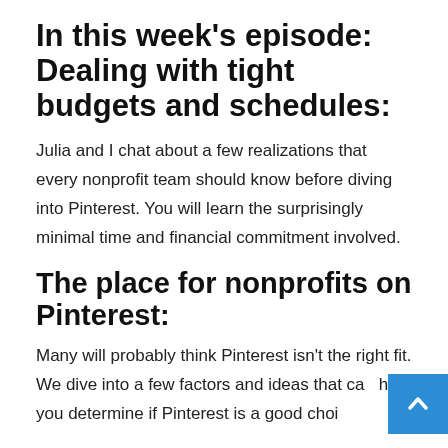In this week's episode: Dealing with tight budgets and schedules:
Julia and I chat about a few realizations that every nonprofit team should know before diving into Pinterest. You will learn the surprisingly minimal time and financial commitment involved.
The place for nonprofits on Pinterest:
Many will probably think Pinterest isn't the right fit. We dive into a few factors and ideas that can help you determine if Pinterest is a good choice